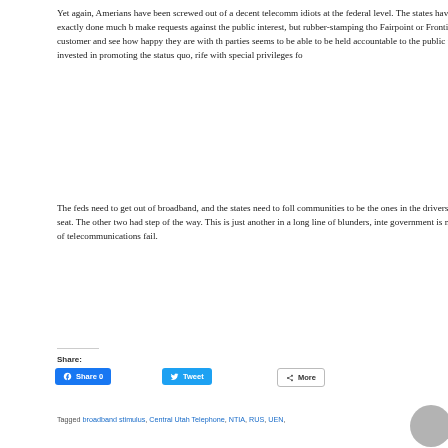Yet again, Amerians have been screwed out of a decent telecomm idiots at the federal level. The states haven't exactly done much b make requests against the public interest, but rubber-stamping tho Fairpoint or Frontier customer and see how happy they are with th parties seems to be able to be held accountable to the public they invested in promoting the status quo, rife with special privileges fo
The feds need to get out of broadband, and the states need to foll communities to be the ones in the drivers seat. The other two had step of the way. This is just another in a long line of blunders, inte government is made of telecommunications fail.
Share:
[Figure (other): Facebook Share button with count 0, Twitter Tweet button, and More button with share icon]
Tagged broadband stimulus, Central Utah Telephone, NTIA, RUS, UEN,